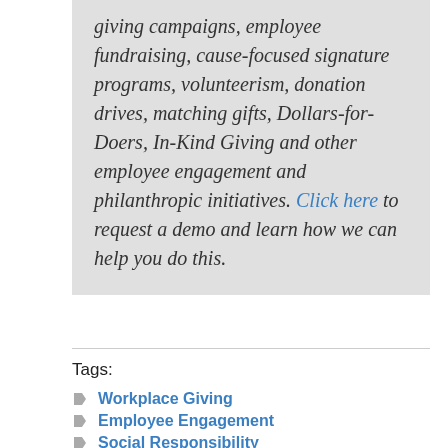giving campaigns, employee fundraising, cause-focused signature programs, volunteerism, donation drives, matching gifts, Dollars-for-Doers, In-Kind Giving and other employee engagement and philanthropic initiatives. Click here to request a demo and learn how we can help you do this.
Tags:
Workplace Giving
Employee Engagement
Social Responsibility